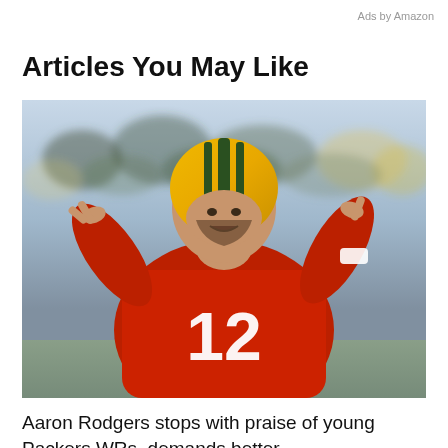Ads by Amazon
Articles You May Like
[Figure (photo): Aaron Rodgers wearing a red #12 jersey and green/yellow Green Bay Packers helmet, gesturing with both hands raised during what appears to be a training camp practice, with a blurred crowd in the background.]
Aaron Rodgers stops with praise of young Packers WRs, demands better